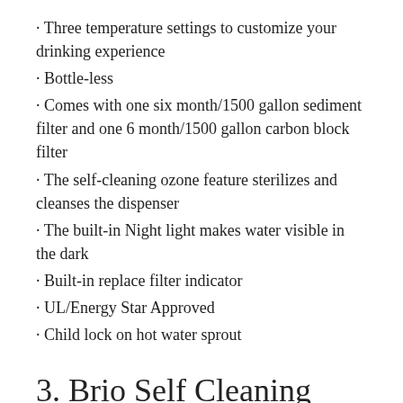· Three temperature settings to customize your drinking experience
· Bottle-less
· Comes with one six month/1500 gallon sediment filter and one 6 month/1500 gallon carbon block filter
· The self-cleaning ozone feature sterilizes and cleanses the dispenser
· The built-in Night light makes water visible in the dark
· Built-in replace filter indicator
· UL/Energy Star Approved
· Child lock on hot water sprout
3. Brio Self Cleaning